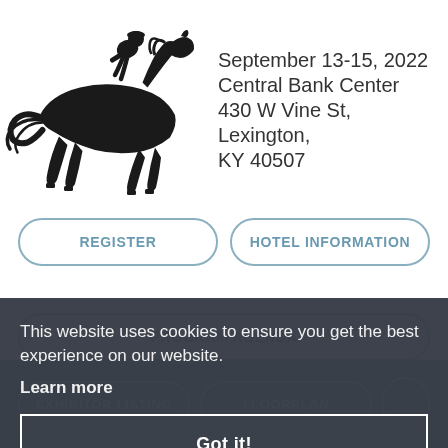[Figure (illustration): Black silhouette of a horse and jockey racing, facing right]
September 13-15, 2022
Central Bank Center
430 W Vine St, Lexington, KY 40507
REGISTER
HOTEL INFORMATION
PROGRAM AGENDA
This website uses cookies to ensure you get the best experience on our website.
Learn more
Got it!
EXHIBITOR LISTING
FLOORPLAN